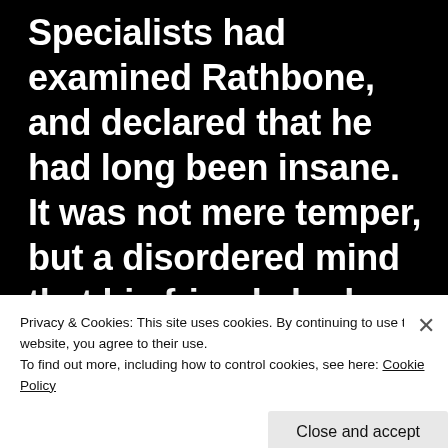Specialists had examined Rathbone, and declared that he had long been insane. It was not mere temper, but a disordered mind that his friends had noted for so many years. How long had
Privacy & Cookies: This site uses cookies. By continuing to use this website, you agree to their use.
To find out more, including how to control cookies, see here: Cookie Policy